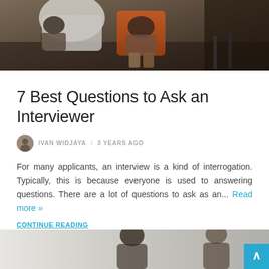[Figure (photo): Top portion of a photo showing people sitting in chairs in what appears to be an interview or waiting room setting, dark background]
7 Best Questions to Ask an Interviewer
IVAN WIDJAYA / 3 YEARS AGO
For many applicants, an interview is a kind of interrogation. Typically, this is because everyone is used to answering questions. There are a lot of questions to ask as an... Read more »
CONTINUE READING
[Figure (photo): Bottom partial photo showing two people in what appears to be an interview setting against a light background]